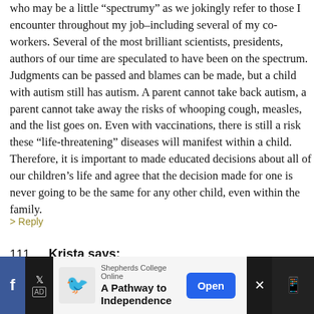who may be a little “spectrumy” as we jokingly refer to those I encounter throughout my job–including several of my co-workers. Several of the most brilliant scientists, presidents, authors of our time are speculated to have been on the spectrum. Judgments can be passed and blames can be made, but a child with autism still has autism. A parent cannot take back autism, a parent cannot take away the risks of whooping cough, measles, and the list goes on. Even with vaccinations, there is still a risk these “life-threatening” diseases will manifest within a child. Therefore, it is important to made educated decisions about all of our children’s life and agree that the decision made for one is never going to be the same for any other child, even within the family.
> Reply
111.  Krista says:
FEBRUARY 8TH, 2010 AT 8:09 PM
This is a complicated, emotional, highly personal issue.
[Figure (screenshot): Advertisement banner for Shepherds College Online - A Pathway to Independence, with Open button, shown over a dark social media bar with Facebook icon and X/Twitter icon.]